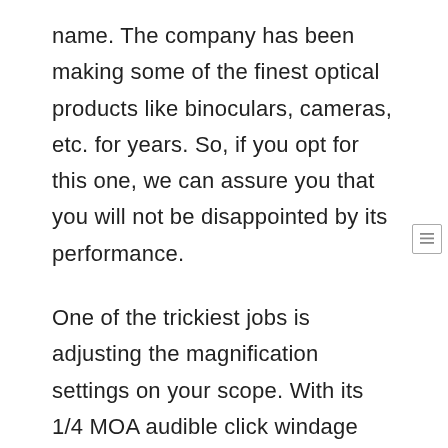name. The company has been making some of the finest optical products like binoculars, cameras, etc. for years. So, if you opt for this one, we can assure you that you will not be disappointed by its performance.
One of the trickiest jobs is adjusting the magnification settings on your scope. With its 1/4 MOA audible click windage and elevation adjustments, the scope will let you make quick adjustments to your aim. And its proprietary true zero attribute lets the riflescope remain at zero in the trickiest conditions.